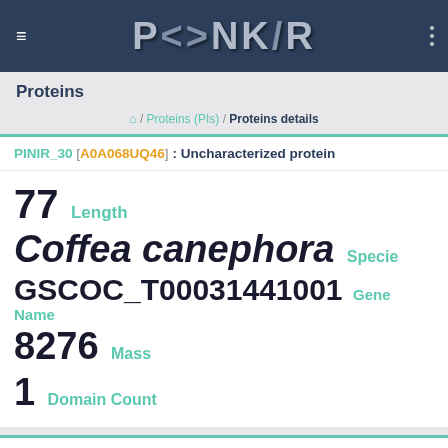PSNNKR
Proteins
/ Proteins (PIs) / Proteins details
PINIR_30 [A0A068UQ46] : Uncharacterized protein
77 Length
Coffea canephora Specie
GSCOC_T00031441001 Gene Name
8276 Mass
1 Domain Count